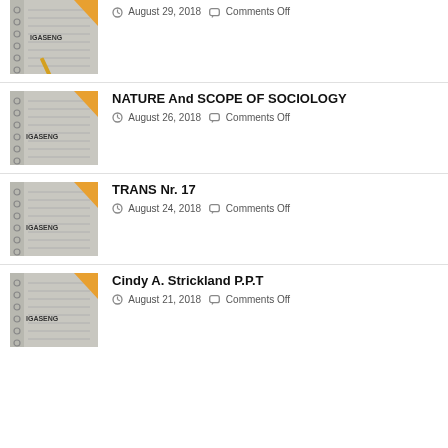[Figure (photo): Notebook with pencil and IGASENG logo, partially cropped at top]
August 29, 2018   Comments Off
[Figure (photo): Notebook with pencil and IGASENG logo]
NATURE And SCOPE OF SOCIOLOGY
August 26, 2018   Comments Off
[Figure (photo): Notebook with pencil and IGASENG logo]
TRANS Nr. 17
August 24, 2018   Comments Off
[Figure (photo): Notebook with pencil and IGASENG logo]
Cindy A. Strickland P.P.T
August 21, 2018   Comments Off